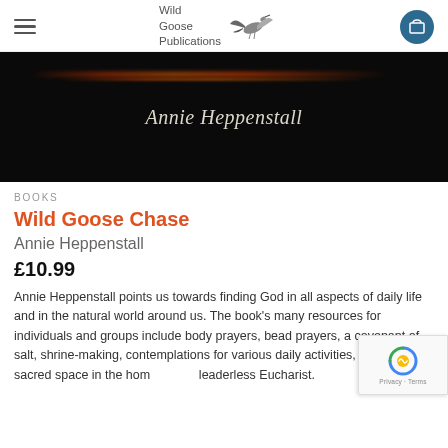Wild Goose Publications
[Figure (photo): Dark background book cover or banner image with the text 'Annie Heppenstall' in italic serif font, with an orange/red light streak near the top]
BOOKS
Wild Goose Chase
Annie Heppenstall
£10.99
Annie Heppenstall points us towards finding God in all aspects of daily life and in the natural world around us. The book's many resources for individuals and groups include body prayers, bead prayers, a covenant of salt, shrine-making, contemplations for various daily activities, creating sacred space in the home, and a leaderless Eucharist.